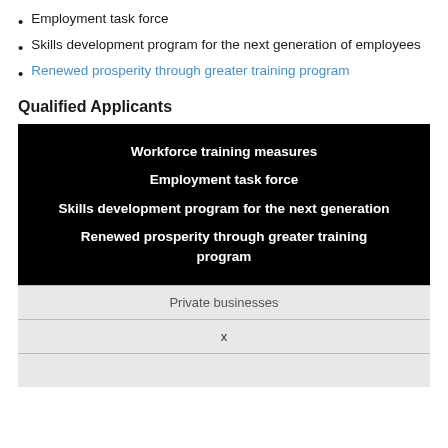Employment task force
Skills development program for the next generation of employees
Renewed prosperity through greater training program
Qualified Applicants
| Workforce training measures |
| Employment task force |
| Skills development program for the next generation |
| Renewed prosperity through greater training program |
| Private businesses |
| x |
|  |